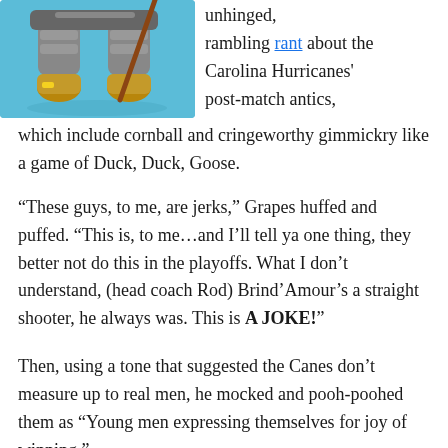[Figure (illustration): Cartoon illustration of a hockey player's lower half showing armored/padded legs and equipment, set against a blue background]
unhinged, rambling rant about the Carolina Hurricanes' post-match antics, which include cornball and cringeworthy gimmickry like a game of Duck, Duck, Goose.
“These guys, to me, are jerks,” Grapes huffed and puffed. “This is, to me…and I’ll tell ya one thing, they better not do this in the playoffs. What I don’t understand, (head coach Rod) Brind’Amour’s a straight shooter, he always was. This is A JOKE!”
Then, using a tone that suggested the Canes don’t measure up to real men, he mocked and pooh-poohed them as “Young men expressing themselves for joy of winning.”